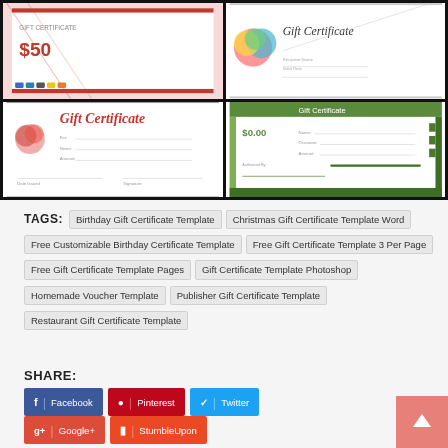[Figure (photo): Grid of four gift certificate template previews on black background. Top-left: pink background certificate with $50 value and ribbon design. Top-right: white certificate with colorful birthday balloons image and 'Gift Certificate' heading. Bottom-left: white certificate with heart/rose image and cursive 'Gift Certificate' heading. Bottom-right: white certificate with green border/header design.]
TAGS:  Birthday Gift Certificate Template  Christmas Gift Certificate Template Word  Free Customizable Birthday Certificate Template  Free Gift Certificate Template 3 Per Page  Free Gift Certificate Template Pages  Gift Certificate Template Photoshop  Homemade Voucher Template  Publisher Gift Certificate Template  Restaurant Gift Certificate Template
SHARE:
Facebook
Pinterest
Twitter
Google+
StumbleUpon